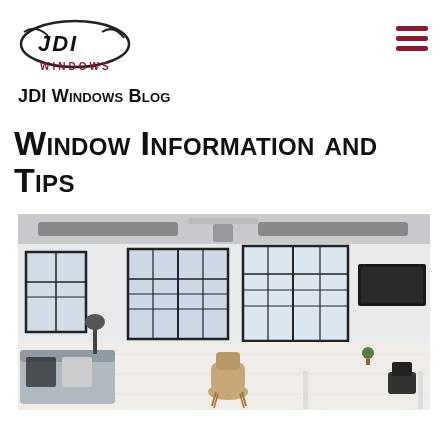JDI Windows Logo and navigation
JDI Windows Blog
Window Information and Tips
[Figure (photo): Interior room photo showing a modern open-plan living/office space with large black-framed industrial windows, a sofa with cushions, a tan chair, dining table with chairs, TV on wall, and exposed ceiling ducts. Bright, airy space with lots of natural light.]